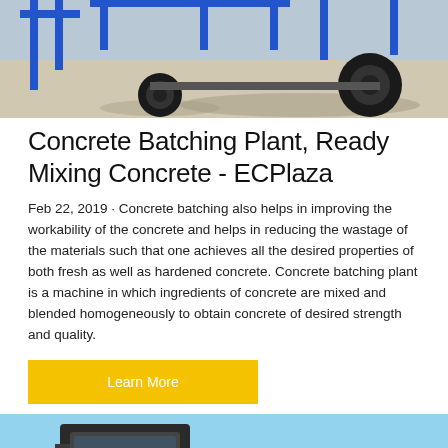[Figure (photo): Top portion of a blue concrete batching plant or heavy machinery on a concrete surface, showing wheels and blue structural components]
Concrete Batching Plant, Ready Mixing Concrete - ECPlaza
Feb 22, 2019 · Concrete batching also helps in improving the workability of the concrete and helps in reducing the wastage of the materials such that one achieves all the desired properties of both fresh as well as hardened concrete. Concrete batching plant is a machine in which ingredients of concrete are mixed and blended homogeneously to obtain concrete of desired strength and quality.
[Figure (photo): Bottom portion of page showing the front cab of a dark-colored truck against a light blue sky background, with a circular dark scroll-to-top button with upward arrow in the bottom right corner]